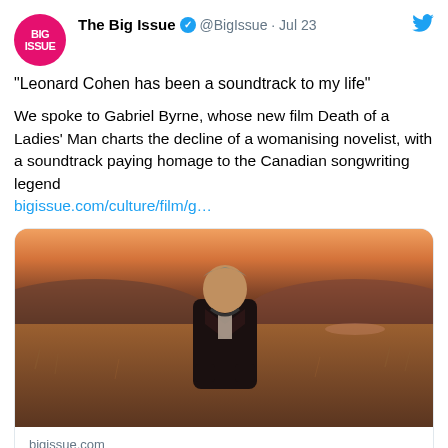[Figure (logo): The Big Issue circular red logo with white text 'BIG ISSUE']
The Big Issue ✓ @BigIssue · Jul 23
"Leonard Cohen has been a soundtrack to my life"
We spoke to Gabriel Byrne, whose new film Death of a Ladies' Man charts the decline of a womanising novelist, with a soundtrack paying homage to the Canadian songwriting legend bigissue.com/culture/film/g…
[Figure (photo): A man with gray-streaked hair standing in an autumnal field with hills and a sunset sky in the background, wearing a dark coat]
bigissue.com
Gabriel Byrne: 'Leonard Cohen has been a soundtrack to my life' - The Big Issue